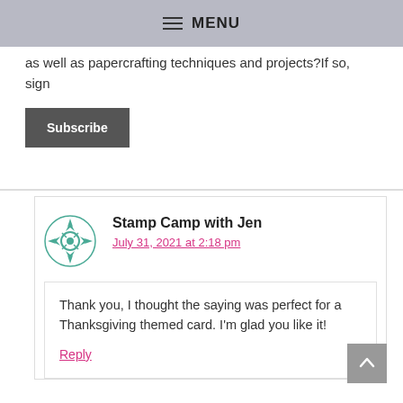MENU
as well as papercrafting techniques and projects?If so, sign
Subscribe
Stamp Camp with Jen
July 31, 2021 at 2:18 pm
Thank you, I thought the saying was perfect for a Thanksgiving themed card. I'm glad you like it!
Reply